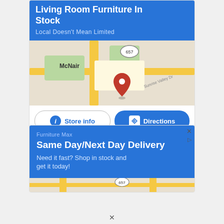Living Room Furniture In Stock
Local Doesn't Mean Limited
[Figure (map): Google map showing McNair area with location pin near route 657 and Sunrise Valley Dr]
Store info
Directions
Furniture Max
Same Day/Next Day Delivery
Need it fast? Shop in stock and get it today!
[Figure (map): Partial Google map showing route 657 area]